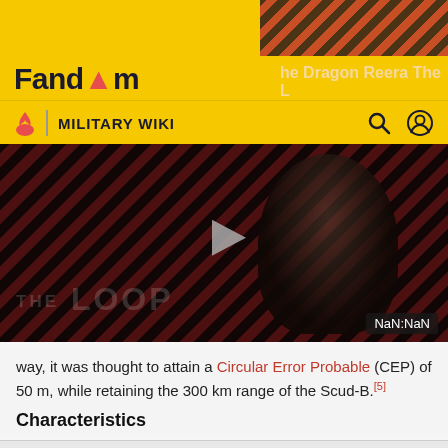Fandom | MILITARY WIKI
[Figure (screenshot): Video player showing 'THE LOOP' with diagonal red/black stripes background, play button, and NaN:NaN time indicator]
way, it was thought to attain a Circular Error Probable (CEP) of 50 m, while retaining the 300 km range of the Scud-B.[5]
Characteristics